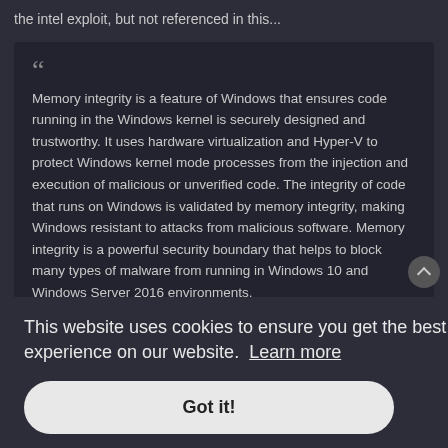the intel exploit, but not referenced in this...
Memory integrity is a feature of Windows that ensures code running in the Windows kernel is securely designed and trustworthy. It uses hardware virtualization and Hyper-V to protect Windows kernel mode processes from the injection and execution of malicious or unverified code. The integrity of code that runs on Windows is validated by memory integrity, making Windows resistant to attacks from malicious software. Memory integrity is a powerful security boundary that helps to block many types of malware from running in Windows 10 and Windows Server 2016 environments.
and TPM, yes, that one I remember after reading a bit about it, but I've never used it personally, but it seems on my work laptop it's already on...
This website uses cookies to ensure you get the best experience on our website. Learn more
Got it!
p to